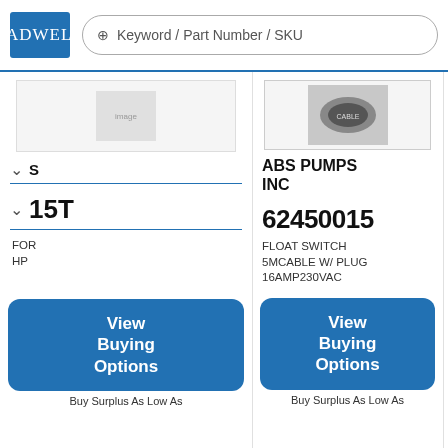Radwell | Keyword / Part Number / SKU
[Figure (photo): Product image for ABS PUMPS INC 62450015 - float switch cable]
[Figure (photo): Product image for ABS PUMPS INC 6124171 - sealminder module]
ABS PUMPS INC
ABS PUMPS INC
15T
62450015
6124171
FOR
HP
FLOAT SWITCH 5MCABLE W/ PLUG 16AMP230VAC
SEALMINDER MODULE 208/230VAC
View
Buying
Options
View
Buying
Options
View
Buying
Options
Buy Surplus As Low As
Buy Surplus As Low As
Buy Surplus As Low As